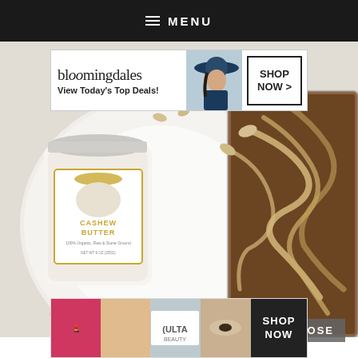MENU
[Figure (screenshot): Bloomingdales advertisement banner with logo, model in blue hat, tagline 'View Today's Top Deals!' and SHOP NOW button]
[Figure (photo): Overhead food photography showing a jar of OATINI Cashew Butter (100% Organic, Raw & Stone Ground) on a white plate with cashew nuts scattered around, next to a glass baking dish with chocolate cashew butter swirl brownies]
CLOSE
[Figure (screenshot): ULTA Beauty advertisement banner showing beauty/makeup images and SHOP NOW button]